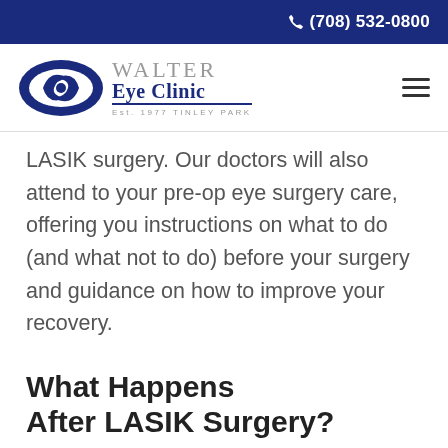(708) 532-0800
[Figure (logo): Walter Eye Clinic logo with blue eye graphic and text 'WALTER Eye Clinic Est. 1977 TINLEY PARK']
LASIK surgery. Our doctors will also attend to your pre-op eye surgery care, offering you instructions on what to do (and what not to do) before your surgery and guidance on how to improve your recovery.
What Happens After LASIK Surgery?